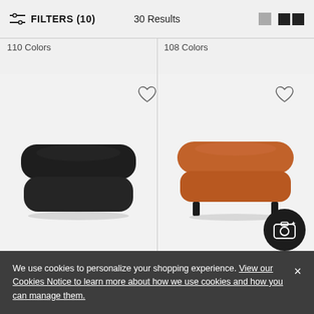FILTERS (10)    30 Results
110 Colors
108 Colors
[Figure (photo): Black upholstered sofa/ottoman with rounded edges, viewed from the front]
[Figure (photo): Rust/terracotta orange upholstered ottoman with rounded edges and black legs, viewed from the front]
$1,695.00 – $2,025.00
$2,495.00 – $4,595.00
We use cookies to personalize your shopping experience. View our Cookies Notice to learn more about how we use cookies and how you can manage them.